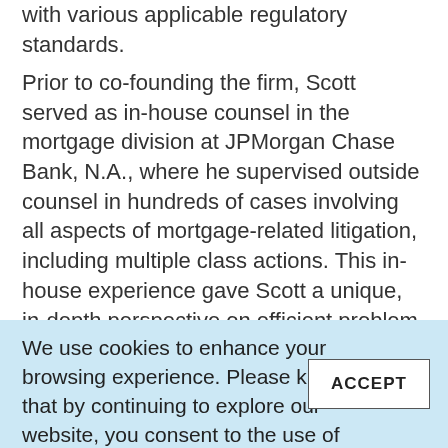with various applicable regulatory standards.
Prior to co-founding the firm, Scott served as in-house counsel in the mortgage division at JPMorgan Chase Bank, N.A., where he supervised outside counsel in hundreds of cases involving all aspects of mortgage-related litigation, including multiple class actions. This in-house experience gave Scott a unique, in-depth perspective on efficient problem-solving for clients.
We use cookies to enhance your browsing experience. Please know that by continuing to explore our website, you consent to the use of cookies in accordance with our Privacy Policy.